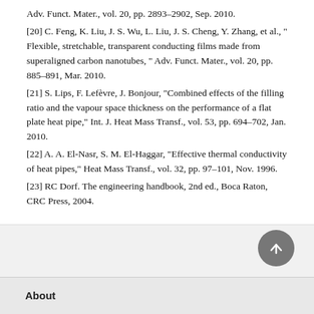Adv. Funct. Mater., vol. 20, pp. 2893–2902, Sep. 2010.
[20] C. Feng, K. Liu, J. S. Wu, L. Liu, J. S. Cheng, Y. Zhang, et al., " Flexible, stretchable, transparent conducting films made from superaligned carbon nanotubes, " Adv. Funct. Mater., vol. 20, pp. 885–891, Mar. 2010.
[21] S. Lips, F. Lefèvre, J. Bonjour, "Combined effects of the filling ratio and the vapour space thickness on the performance of a flat plate heat pipe," Int. J. Heat Mass Transf., vol. 53, pp. 694–702, Jan. 2010.
[22] A. A. El-Nasr, S. M. El-Haggar, "Effective thermal conductivity of heat pipes," Heat Mass Transf., vol. 32, pp. 97–101, Nov. 1996.
[23] RC Dorf. The engineering handbook, 2nd ed., Boca Raton, CRC Press, 2004.
About